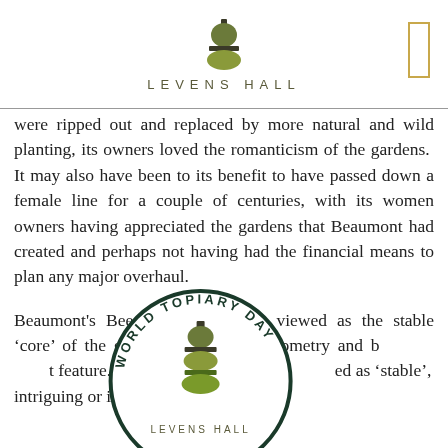[Figure (logo): Levens Hall logo with topiary shape icon and text LEVENS HALL]
were ripped out and replaced by more natural and wild planting, its owners loved the romanticism of the gardens.  It may also have been to its benefit to have passed down a female line for a couple of centuries, with its women owners having appreciated the gardens that Beaumont had created and perhaps not having had the financial means to plan any major overhaul.
Beaumont's Beech Hedge can be viewed as the stable ‘core’ of the garden, defining its geometry and being its most enduring feature.  The topiary, on the other hand, has been described as ‘stable’, intriguing or it...
[Figure (logo): World Topiary Day circular stamp overlay with Levens Hall logo in center]